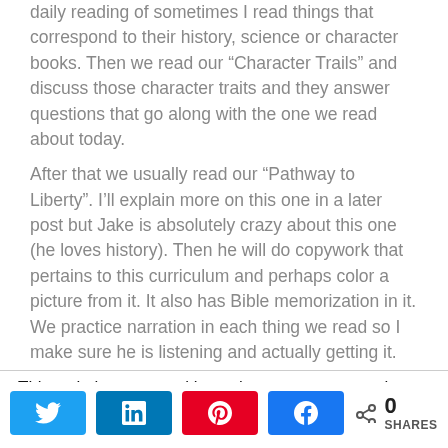daily reading of sometimes I read things that correspond to their history, science or character books.  Then we read our “Character Trails” and discuss those character traits and they answer questions that go along with the one we read about today.
After that we usually read our “Pathway to Liberty”.  I’ll explain more on this one in a later post but Jake is absolutely crazy about this one (he loves history).  Then he will do copywork that pertains to this curriculum and perhaps color a picture from it.  It also has Bible memorization in it.  We practice narration in each thing we read so I make sure he is listening and actually getting it.
This website uses cookies to improve your experience. We’ll assume you’re ok with this, but you can opt-out if you wish.